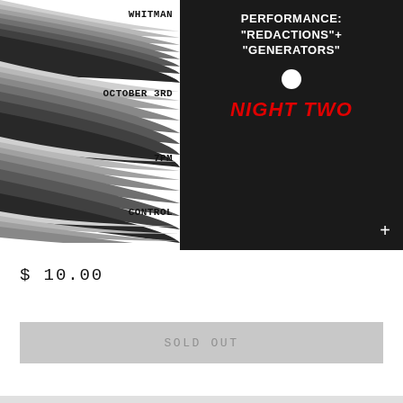[Figure (infographic): Event poster split into two panels. Left panel: white background with concentric wave/ripple pattern forming pointed shapes, with text labels WHITMAN, OCTOBER 3RD, 7PM, CONTROL overlaid. Right panel: black background with white bold text PERFORMANCE: "REDACTIONS"+ "GENERATORS", a white circle dot, red bold italic text NIGHT TWO, and a white plus sign in the bottom right corner.]
$ 10.00
SOLD OUT